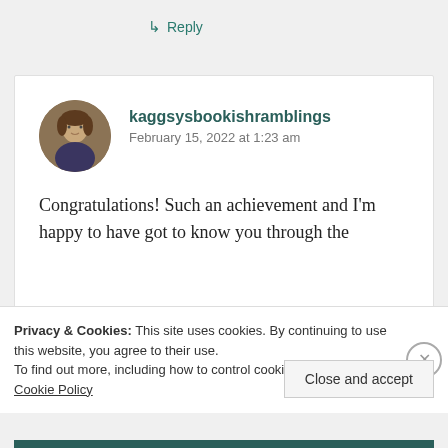↳ Reply
kaggsysbookishramblings
February 15, 2022 at 1:23 am
Congratulations! Such an achievement and I'm happy to have got to know you through the
Privacy & Cookies: This site uses cookies. By continuing to use this website, you agree to their use.
To find out more, including how to control cookies, see here: Cookie Policy
Close and accept